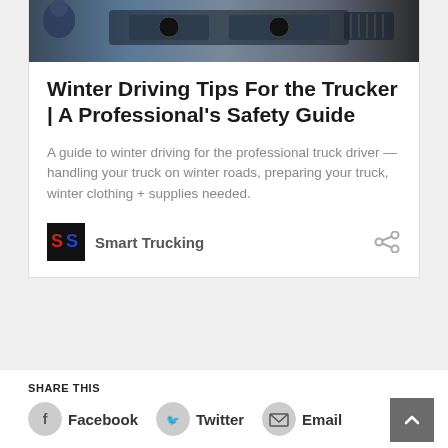[Figure (photo): Dashboard/interior view of a truck cab, seen from driver perspective]
Winter Driving Tips For the Trucker | A Professional's Safety Guide
A guide to winter driving for the professional truck driver — handling your truck on winter roads, preparing your truck, winter clothing + supplies needed.
[Figure (logo): Smart Trucking logo — black square with stylized SS letters in red and blue]
Smart Trucking
SHARE THIS
Facebook
Twitter
Email